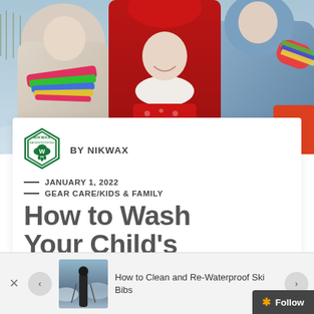[Figure (photo): Three children in winter clothing (colorful scarves, red hat, blue jacket) posing together outdoors in snow]
[Figure (logo): Nikwax Waterproofing logo — diamond/shield shape with 'NIKWAX WATERPROOFING' text and water droplet icon]
BY NIKWAX
— JANUARY 1, 2022
— GEAR CARE/KIDS & FAMILY
How to Wash Your Child's
[Figure (photo): Small thumbnail photo of a person in ski gear / snow scene — related article image]
How to Clean and Re-Waterproof Ski Bibs